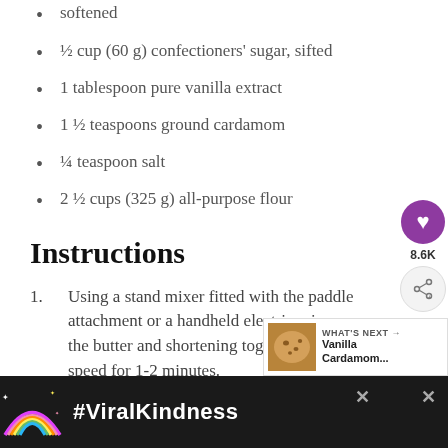softened
½ cup (60 g) confectioners' sugar, sifted
1 tablespoon pure vanilla extract
1 ½ teaspoons ground cardamom
¼ teaspoon salt
2 ½ cups (325 g) all-purpose flour
Instructions
Using a stand mixer fitted with the paddle attachment or a handheld electric mixer, cream the butter and shortening together on medium speed for 1-2 minutes.
Add the confectioners' sugar, vanilla, cardamom, and salt. Beat on medium-low speed just until combined